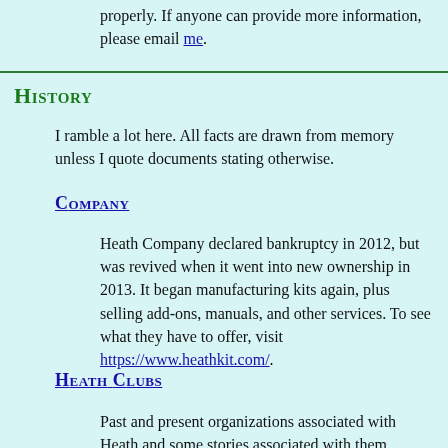properly. If anyone can provide more information, please email me.
History
I ramble a lot here. All facts are drawn from memory unless I quote documents stating otherwise.
Company
Heath Company declared bankruptcy in 2012, but was revived when it went into new ownership in 2013. It began manufacturing kits again, plus selling add-ons, manuals, and other services. To see what they have to offer, visit https://www.heathkit.com/.
Heath Clubs
Past and present organizations associated with Heath and some stories associated with them.